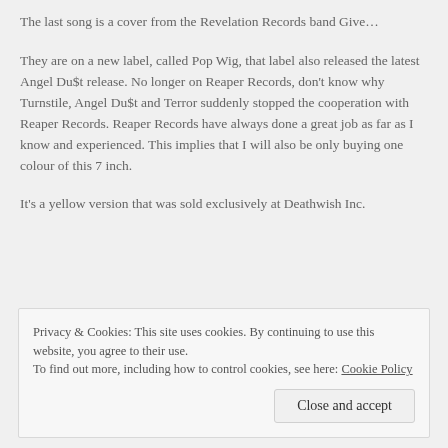The last song is a cover from the Revelation Records band Give…
They are on a new label, called Pop Wig, that label also released the latest Angel Du$t release. No longer on Reaper Records, don't know why Turnstile, Angel Du$t and Terror suddenly stopped the cooperation with Reaper Records. Reaper Records have always done a great job as far as I know and experienced. This implies that I will also be only buying one colour of this 7 inch.
It's a yellow version that was sold exclusively at Deathwish Inc.
Privacy & Cookies: This site uses cookies. By continuing to use this website, you agree to their use.
To find out more, including how to control cookies, see here: Cookie Policy